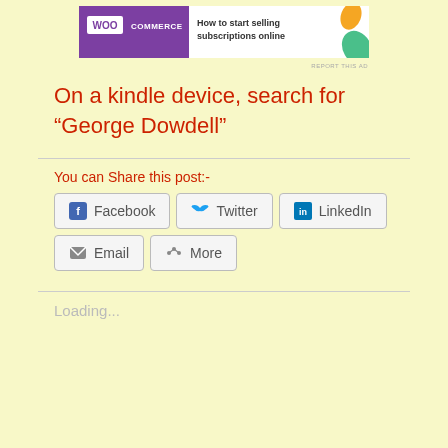[Figure (screenshot): WooCommerce advertisement banner: purple background with WooCommerce logo and text 'How to start selling subscriptions online']
REPORT THIS AD
On a kindle device, search for “George Dowdell”
You can Share this post:-
Facebook  Twitter  LinkedIn  Email  More
Loading...